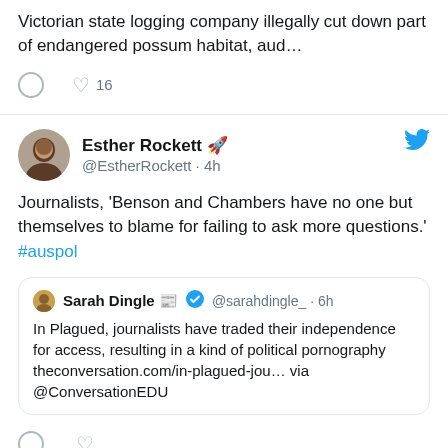Victorian state logging company illegally cut down part of endangered possum habitat, aud…
♡ 16
Esther Rockett 🚀 @EstherRockett · 4h
Journalists, 'Benson and Chambers have no one but themselves to blame for failing to ask more questions.' #auspol
Sarah Dingle 📰 ✔ @sarahdingle_ · 6h
In Plagued, journalists have traded their independence for access, resulting in a kind of political pornography theconversation.com/in-plagued-jou… via @ConversationEDU
↺ Esther Rockett 🚀 Retweeted